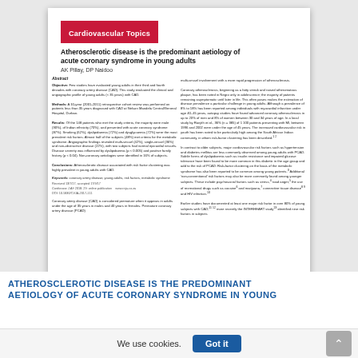Cardiovascular Topics
Atherosclerotic disease is the predominant aetiology of acute coronary syndrome in young adults
AK Pillay, DP Naidoo
Abstract. Objective: Few studies have evaluated young adults in their third and fourth decades with coronary artery disease (CAD). This study evaluated the clinical and angiographic profile of young adults (< 35 years) with CAD. Methods: A 10-year (2001-2011) retrospective cohort review was performed on patients less than 35 years diagnosed with CAD at Nelson Mandela Central/General Hospital, Durban. Results: Of the 148 patients who met the study criteria, the majority were male (90%), of Indian ethnicity (70%), and presented with acute coronary syndrome (87%). Smoking (62%), dyslipidaemia (72%) and dysglycaemia (72%) were the most prevalent risk factors. Almost half of the subjects (48%) met criteria for the metabolic syndrome. Angiographic findings revealed multi-vessel (42%), single-vessel (36%) and non-obstructive disease (22%), with two subjects had normal epicardial vessels. Disease severity was influenced by dyslipidaemia (p < 0.005) and positive family history (p < 0.04). Non-coronary aetiologies were identified in 16% of subjects. Conclusions: Atherosclerotic disease associated with risk factor clustering was highly prevalent in young adults with CAD.
Keywords: coronary artery disease, young adults, risk factors, metabolic syndrome
Received 13/7/17, accepted 17/9/17. Cardiovasc J Afr 2018; 29: online publication. DOI: 10.5830/CVJA-2017-111
Coronary artery disease (CAD) is considered premature when it appears in adults under the age of 35 years in males and 40 years in females. Premature coronary artery disease (PCAD) multi-vessel involvement with a more rapid progression of atherosclerosis. Coronary atherosclerosis, beginning as a fatty streak and raised atheromatous plaque, has been noted in Negro only in adolescence; the majority of patients remaining asymptomatic until later in life. This often poses makes the estimation of disease prevalence a particular challenge in young adults. Although a prevalence of 8% to 18% has been reported among individuals with myocardial infarction under age 40-45 years, autopsy studies have found advanced coronary atherosclerosis in up to 20% of men and 8% of women between 30 and 34 years of age. In a local study by Ranjith et al., 36% (n=385) of 1 100 patients presenting with MI, between 1996 and 2002 were under the age of 45 years. The increased cardiovascular risk in youth has been noted to be particularly high among the South African Indian community, in whom risk-factor clustering has been described.
ATHEROSCLEROTIC DISEASE IS THE PREDOMINANT AETIOLOGY OF ACUTE CORONARY SYNDROME IN YOUNG
We use cookies.
Got it